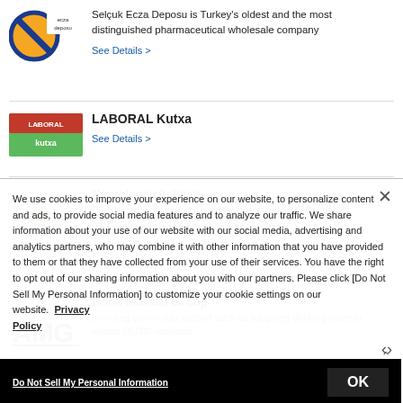[Figure (logo): Selçuk Ecza Deposu logo - orange circle with blue prohibition symbol and text]
Selçuk Ecza Deposu is Turkey's oldest and the most distinguished pharmaceutical wholesale company
See Details >
[Figure (logo): LABORAL Kutxa logo - green and red rectangular logo]
LABORAL Kutxa
See Details >
[Figure (logo): Neurologische Klinik logo - figure with neural symbol]
Neurologischeklinik
Deegenbenklinik in Bad Kissingen is a specialist clinic for the rehabilitation of patients with various disorders.
See Details >
[Figure (logo): AMG Rhön Maintal Group logo - blue stylized letters AMG]
Rhön Maintal Group
providing community support such as supplying drinking water to almost 66,000 residents.
We use cookies to improve your experience on our website, to personalize content and ads, to provide social media features and to analyze our traffic. We share information about your use of our website with our social media, advertising and analytics partners, who may combine it with other information that you have provided to them or that they have collected from your use of their services. You have the right to opt out of our sharing information about you with our partners. Please click [Do Not Sell My Personal Information] to customize your cookie settings on our website. Privacy Policy
Do Not Sell My Personal Information
OK